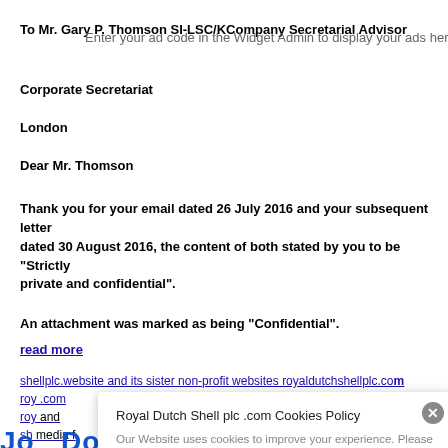To Mr. Gary P. Thomson SI-LSC/KCompany Secretarial Advisor
Enter your ad code in the Widget Admin to display your ads here
Corporate Secretariat
London
Dear Mr. Thomson
Thank you for your email dated 26 July 2016 and your subsequent letter dated 30 August 2016, the content of both stated by you to be “Strictly private and confidential”.
An attachment was marked as being “Confidential”.
read more
shellplc.website and its sister non-profit websites royaldutchshellplc.com royaldutchshell.website and shell.com media f
Royal Dutch Shell plc .com Cookies Policy
Our Website uses cookies to improve your experience. Please visit our Privacy page for more information about cookies and how we use them.
JO    DONOVAN    SARAH    JETT